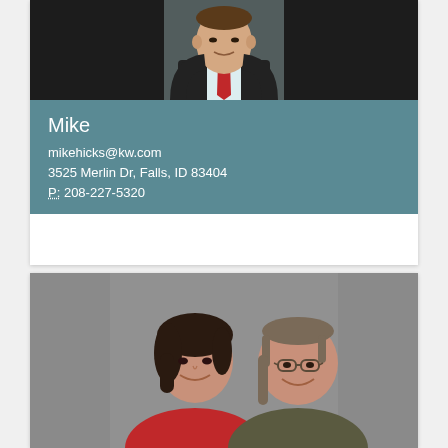[Figure (photo): Professional headshot of a man in a dark suit with a red patterned tie on a light background]
Mike
mikehicks@kw.com
3525 Merlin Dr, Falls, ID 83404
P: 208-227-5320
[Figure (photo): A smiling couple — a woman with dark hair wearing red and a man with glasses and longer hair — photographed against a gray background]